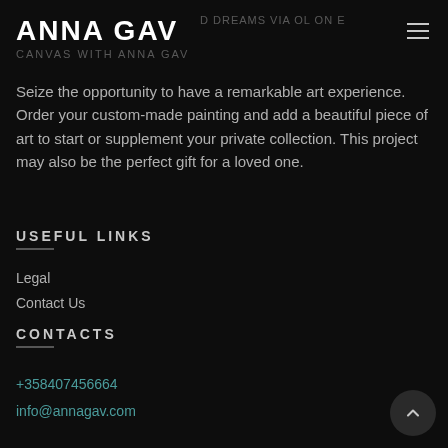ANNA GAV
Seize the opportunity to have a remarkable art experience. Order your custom-made painting and add a beautiful piece of art to start or supplement your private collection. This project may also be the perfect gift for a loved one.
USEFUL LINKS
Legal
Contact Us
CONTACTS
+358407456664
info@annagav.com